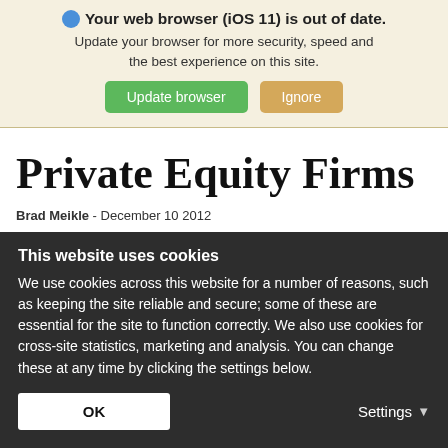[Figure (screenshot): Browser update notification banner with globe icon, bold title 'Your web browser (iOS 11) is out of date.', subtitle text, and two buttons: green 'Update browser' and tan 'Ignore']
Private Equity Firms
Brad Meikle -  December 10 2012
This website uses cookies
We use cookies across this website for a number of reasons, such as keeping the site reliable and secure; some of these are essential for the site to function correctly. We also use cookies for cross-site statistics, marketing and analysis. You can change these at any time by clicking the settings below.
OK
Settings